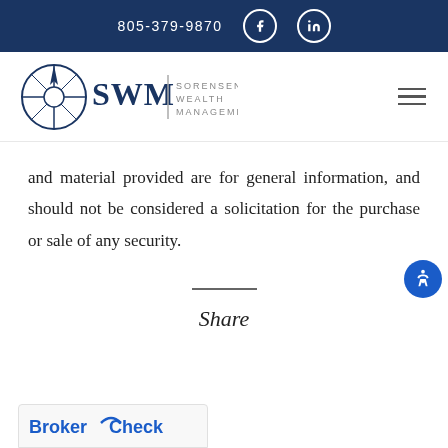805-379-9870
[Figure (logo): SWM Sorensen Wealth Management compass logo with company name]
and material provided are for general information, and should not be considered a solicitation for the purchase or sale of any security.
Share
[Figure (logo): BrokerCheck logo (partially visible at bottom)]